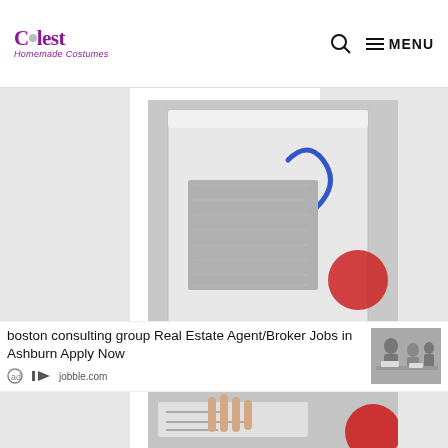Coolest Homemade Costumes — site header with logo, search icon, and MENU button
[Figure (photo): Screenshot of a website page for Coolest Homemade Costumes showing a product photo (homemade costume box/prop with blue squiggle design, white and red colors) with a partially visible advertisement overlay for 'boston consulting group Real Estate Agent/Broker Jobs in Ashburn Apply Now' from jobble.com]
boston consulting group Real Estate Agent/Broker Jobs in Ashburn Apply Now
jobble.com